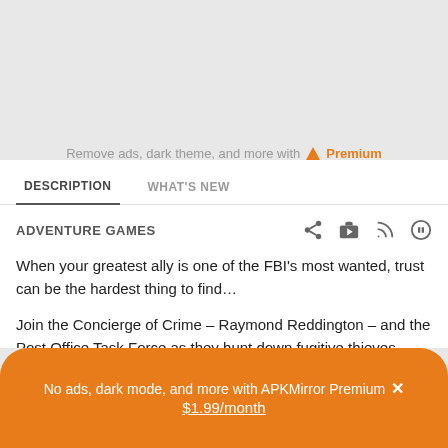Remove ads, dark theme, and more with Premium
DESCRIPTION
WHAT'S NEW
ADVENTURE GAMES
When your greatest ally is one of the FBI's most wanted, trust can be the hardest thing to find…
Join the Concierge of Crime – Raymond Reddington – and the Post Office Task Force as they hunt down fugitive thieves, assassins, and all manner of wanted criminals in Gameloft's official hidden object game of the hit NBC drama. Become part
No ads, dark mode, and more with APKMirror Premium × $1.99/month